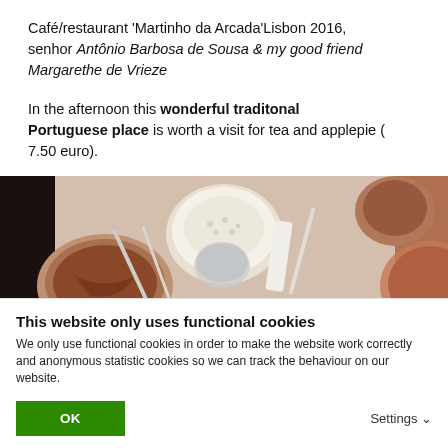Café/restaurant 'Martinho da Arcada' Lisbon 2016, senhor Antônio Barbosa de Sousa & my good friend Margarethe de Vrieze
In the afternoon this wonderful traditonal Portuguese place is worth a visit for tea and applepie ( 7.50 euro).
[Figure (photo): Photo of a restaurant table with bowls of food, utensils, and dishes, taken from above at Martinho da Arcada, Lisbon.]
This website only uses functional cookies
We only use functional cookies in order to make the website work correctly and anonymous statistic cookies so we can track the behaviour on our website.